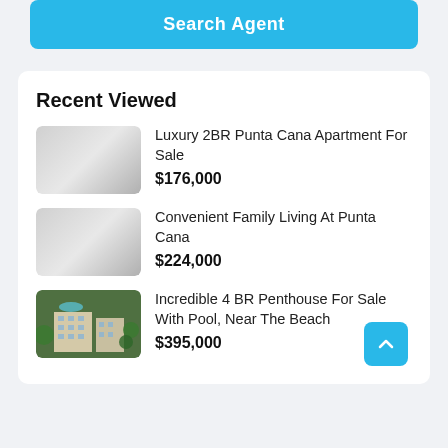Search Agent
Recent Viewed
Luxury 2BR Punta Cana Apartment For Sale
$176,000
Convenient Family Living At Punta Cana
$224,000
Incredible 4 BR Penthouse For Sale With Pool, Near The Beach
$395,000